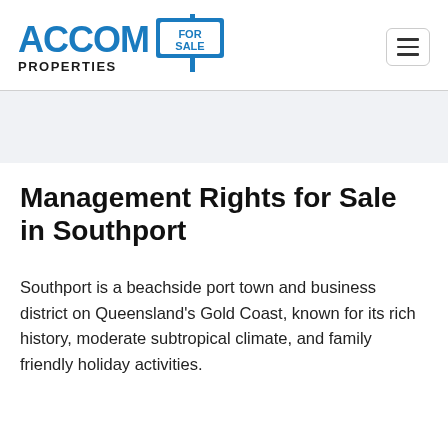[Figure (logo): ACCOM Properties For Sale logo with blue text and a sign icon]
Management Rights for Sale in Southport
Southport is a beachside port town and business district on Queensland's Gold Coast, known for its rich history, moderate subtropical climate, and family friendly holiday activities.